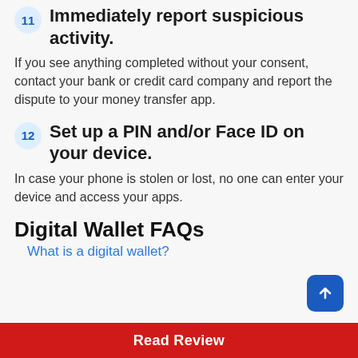11 Immediately report suspicious activity.
If you see anything completed without your consent, contact your bank or credit card company and report the dispute to your money transfer app.
12 Set up a PIN and/or Face ID on your device.
In case your phone is stolen or lost, no one can enter your device and access your apps.
Digital Wallet FAQs
What is a digital wallet?
Read Review